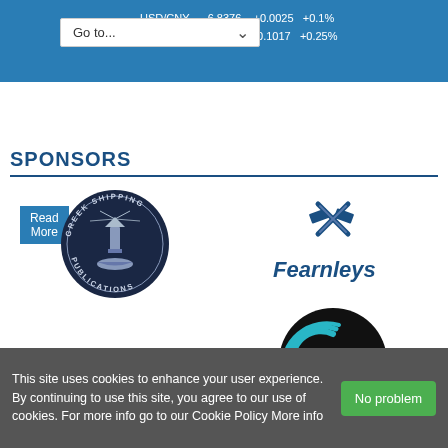[Figure (screenshot): Blue navigation bar with currency ticker data showing USD/CNY 6.8376 +0.0025 +0.1% and AUD/USD 0.6812 +0.1017 +0.25%, and a dropdown overlay saying Go to...]
Read More
SPONSORS
[Figure (logo): Greek Shipping Publications logo - circular dark navy badge with lighthouse illustration and text GREEK SHIPPING PUBLICATIONS around the border]
[Figure (logo): Fearnleys logo - dark blue X/cross satellite graphic above bold blue text Fearnleys]
[Figure (logo): Gibson Shipbrokers logo - dark purple bold text GIBSON above red bar with white text SHIPBROKERS]
[Figure (logo): Onboard Connectivity Summit logo - black circle with teal concentric arcs on left and white bold text ONBOARD CONNECTIVITY SUMMIT on right]
This site uses cookies to enhance your user experience. By continuing to use this site, you agree to our use of cookies. For more info go to our Cookie Policy More info
No problem